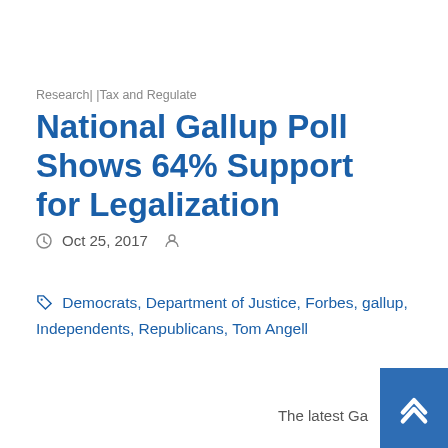Research| |Tax and Regulate
National Gallup Poll Shows 64% Support for Legalization
Oct 25, 2017
Democrats, Department of Justice, Forbes, gallup, Independents, Republicans, Tom Angell
The latest Ga